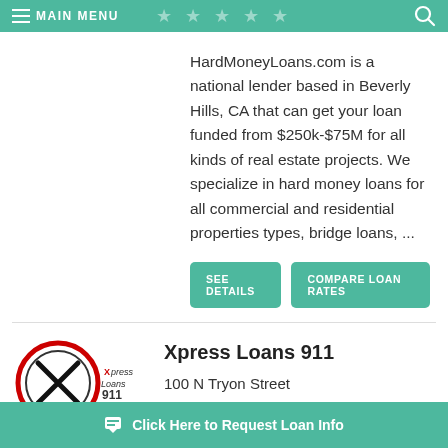MAIN MENU
HardMoneyLoans.com is a national lender based in Beverly Hills, CA that can get your loan funded from $250k-$75M for all kinds of real estate projects. We specialize in hard money loans for all commercial and residential properties types, bridge loans, ...
SEE DETAILS | COMPARE LOAN RATES
[Figure (logo): Xpress Loans 911 logo with X graphic and red/black text]
Xpress Loans 911
100 N Tryon Street
Charlotte, NC 28202
Click Here to Request Loan Info